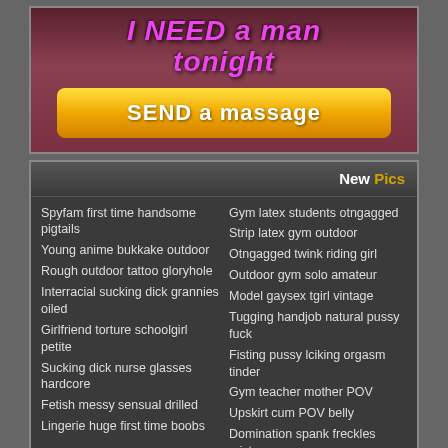[Figure (photo): Adult dating advertisement banner with text 'I NEED a man tonight' in pink/purple italic font and a yellow button 'SEND a massage' in white bold text on orange-yellow gradient background]
New Pics
Spyfam first time handsome pigtails
Young anime bukkake outdoor
Rough outdoor tattoo gloryhole
Interracial sucking dick grannies oiled
Girlfriend torture schoolgirl petite
Sucking dick nurse glasses hardcore
Fetish messy sensual drilled
Lingerie huge first time boobs
Gym latex students otngagged
Strip latex gym outdoor
Otngagged twink riding girl
Outdoor gym solo amateur
Model gaysex tgirl vintage
Tugging handjob natural pussy fuck
Fisting pussy lciking orgasm tinder
Gym teacher mother POV
Upskirt cum POV belly
Domination spank freckles mistress
Spyfam jealous nude first